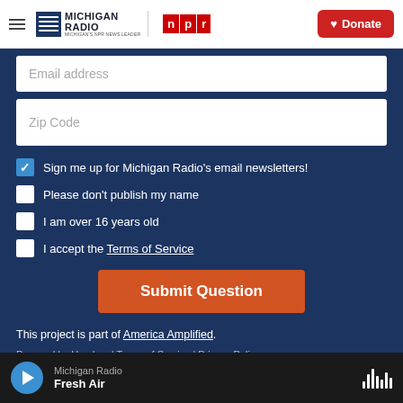Michigan Radio | NPR | Donate
Email address
Zip Code
Sign me up for Michigan Radio's email newsletters!
Please don't publish my name
I am over 16 years old
I accept the Terms of Service
Submit Question
This project is part of America Amplified.
Powered by Hearken | Terms of Service | Privacy Policy
Michigan Radio Fresh Air